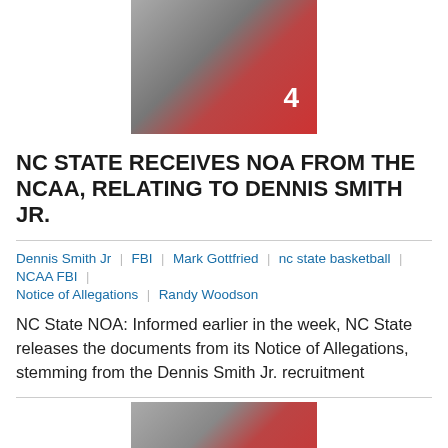[Figure (photo): Basketball coach talking closely with player wearing red NC State jersey number 4]
NC STATE RECEIVES NOA FROM THE NCAA, RELATING TO DENNIS SMITH JR.
Dennis Smith Jr | FBI | Mark Gottfried | nc state basketball | NCAA FBI | Notice of Allegations | Randy Woodson
NC State NOA: Informed earlier in the week, NC State releases the documents from its Notice of Allegations, stemming from the Dennis Smith Jr. recruitment
[Figure (photo): Basketball coach whispering to player wearing red NC State jersey, second image]